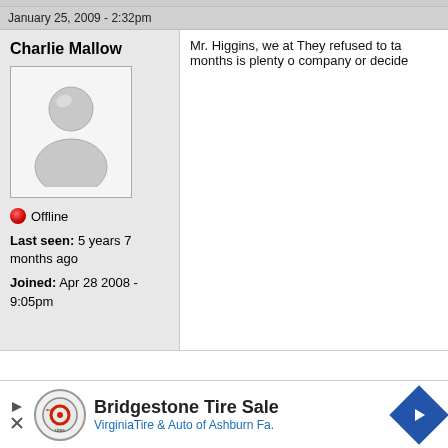January 25, 2009 - 2:32pm
Charlie Mallow
[Figure (illustration): Default user avatar — grey silhouette of a person on white background]
Offline
Last seen: 5 years 7 months ago
Joined: Apr 28 2008 - 9:05pm
Mr. Higgins, we at They refused to ta months is plenty o company or decide
January 25, 2009 - 2:47pm
Tom Clark
[Figure (illustration): Default user avatar — grey silhouette of a person on white background]
I think it is a long s national health ca
Bridgestone Tire Sale
VirginiaTire & Auto of Ashburn Fa.